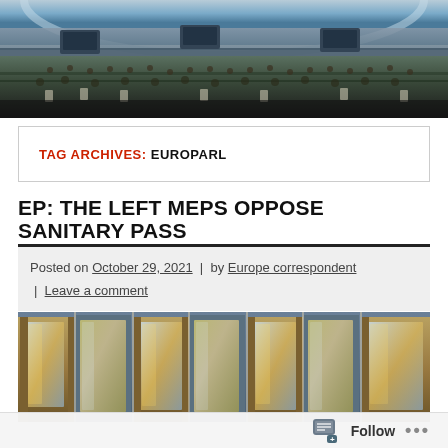[Figure (photo): Wide-angle view of a European Parliament or EU Council chamber filled with delegates, curved rows of seats, large screens visible]
TAG ARCHIVES: EUROPARL
EP: THE LEFT MEPS OPPOSE SANITARY PASS
Posted on October 29, 2021 | by Europe correspondent | Leave a comment
[Figure (photo): Exterior photo of the European Parliament building in Strasbourg or Brussels showing glass facade and curved architectural columns]